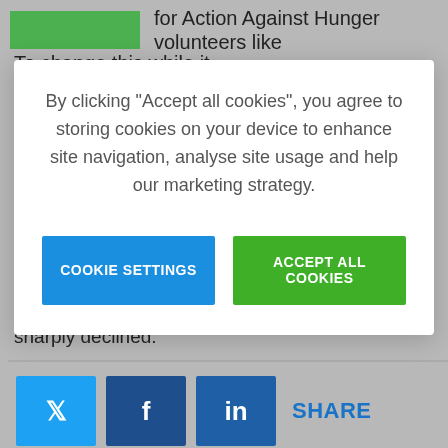[Figure (screenshot): Green rectangle placeholder image in top-left corner of background page]
for Action Against Hunger volunteers like
To change this while it...
By clicking “Accept all cookies”, you agree to storing cookies on your device to enhance site navigation, analyse site usage and help our marketing strategy.
COOKIE SETTINGS
ACCEPT ALL COOKIES
eateries, street vendors and many others simply couldn’t get by and the country’s economy sharply declined.
SHARE